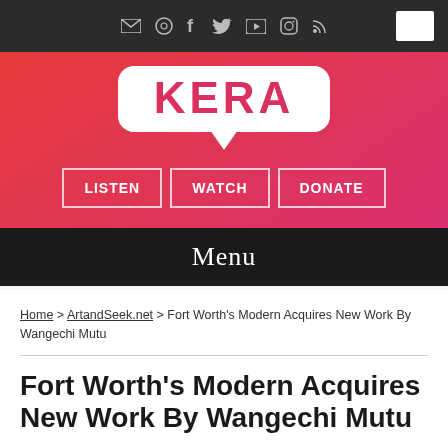[Figure (screenshot): KERA website header with dark top navigation bar showing social media icons (email, GitHub, Facebook, Twitter, YouTube, Instagram, RSS) and a search box on the right]
[Figure (logo): KERA logo in white speech bubble shape with red text on red gradient background, with LISTEN, WATCH, DONATE navigation buttons below]
Menu
Home > ArtandSeek.net > Fort Worth's Modern Acquires New Work By Wangechi Mutu
Fort Worth's Modern Acquires New Work By Wangechi Mutu